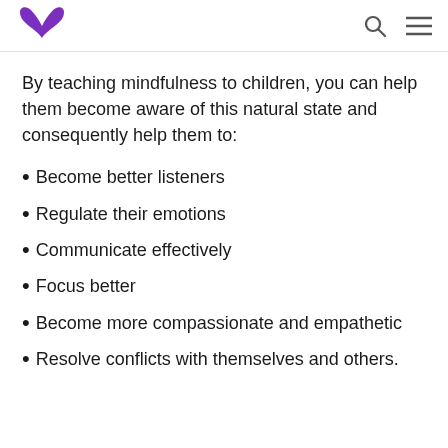Logo and navigation icons
By teaching mindfulness to children, you can help them become aware of this natural state and consequently help them to:
Become better listeners
Regulate their emotions
Communicate effectively
Focus better
Become more compassionate and empathetic
Resolve conflicts with themselves and others.